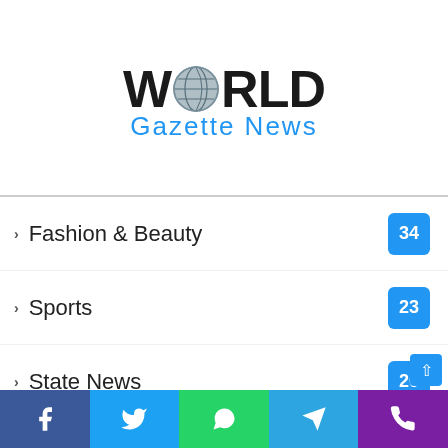[Figure (logo): World Gazette News logo with globe in the O]
Fashion & Beauty 34
Sports 23
State News 20
Food 17
Finance/Money 12
Automobiles 11
Apps News 11
World 9
Press Release 8
Travel
Facebook | Twitter | WhatsApp | Telegram | Phone